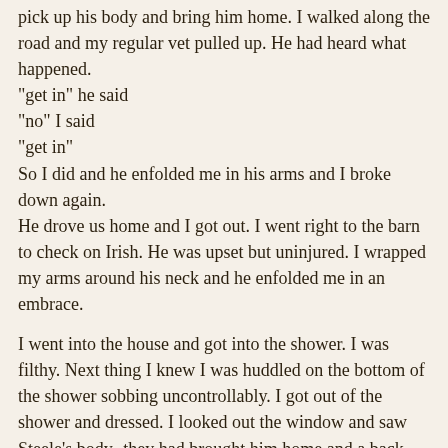pick up his body and bring him home. I walked along the road and my regular vet pulled up. He had heard what happened.
"get in" he said
"no" I said
"get in"
So I did and he enfolded me in his arms and I broke down again.
He drove us home and I got out. I went right to the barn to check on Irish. He was upset but uninjured. I wrapped my arms around his neck and he enfolded me in an embrace.

I went into the house and got into the shower. I was filthy. Next thing I knew I was huddled on the bottom of the shower sobbing uncontrollably. I got out of the shower and dressed. I looked out the window and saw Steele's body- they had brought him home and a back hoe was digging a hole.

I had one more job to do.

I went out and Ed came up. I asked him to stop the back hoe and I put a halter on Irish and brought him out. He was